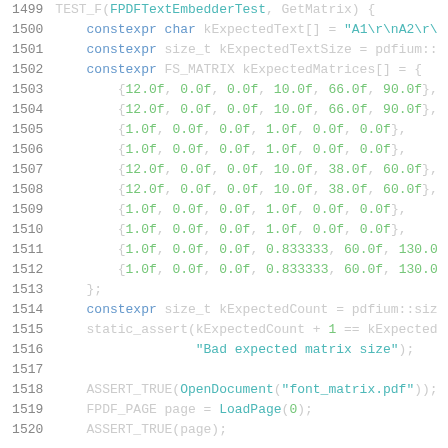[Figure (screenshot): Source code screenshot showing C++ test code lines 1499-1520, with syntax highlighting. Line numbers in gray on left, keywords in blue, strings in teal/green, numbers in green, function names in white/gray.]